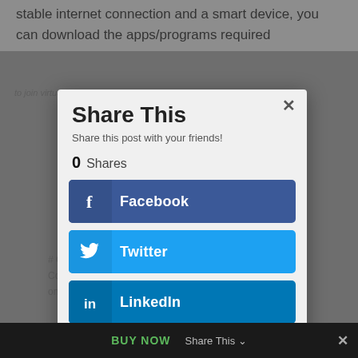stable internet connection and a smart device, you can download the apps/programs required
to join virtual learning classrooms, access e-
Back to School Discounts
# Coupon BTS10 for a 10% discount on all tutorial packs
Coupon TEST20 for a 20% discount on all worksheet packs
Valid till August 31, 2022
Share This
Share this post with your friends!
0  Shares
Facebook
Twitter
LinkedIn
Gmail
BUY NOW
Share This ∨
×